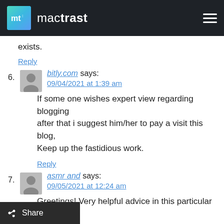mactrast
exists.
Reply
bitly.com says:
09/04/2021 at 1:39 am

If some one wishes expert view regarding blogging
after that i suggest him/her to pay a visit this blog,
Keep up the fastidious work.
Reply
asmr and says:
09/05/2021 at 12:24 am

Greetings! Very helpful advice in this particular